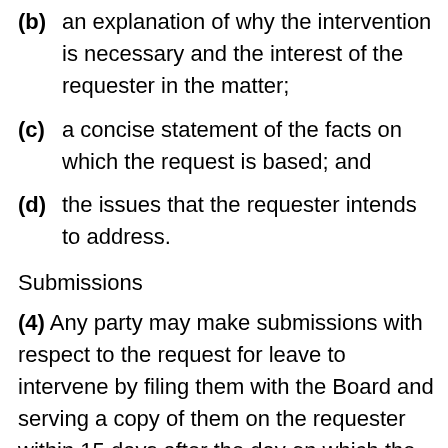(b) an explanation of why the intervention is necessary and the interest of the requester in the matter;
(c) a concise statement of the facts on which the request is based; and
(d) the issues that the requester intends to address.
Submissions
(4) Any party may make submissions with respect to the request for leave to intervene by filing them with the Board and serving a copy of them on the requester within 15 days after the day on which the